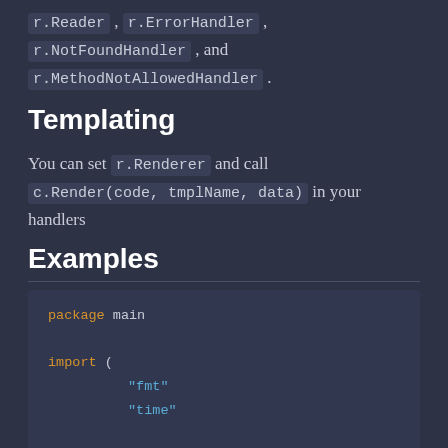r.Reader , r.ErrorHandler , r.NotFoundHandler , and r.MethodNotAllowedHandler .
Templating
You can set r.Renderer and call c.Render(code, tmplName, data) in your handlers
Examples
[Figure (screenshot): Go code block showing package main with import statement including "fmt", "time", and "git.fuyu.moe/Fuyu/router"]